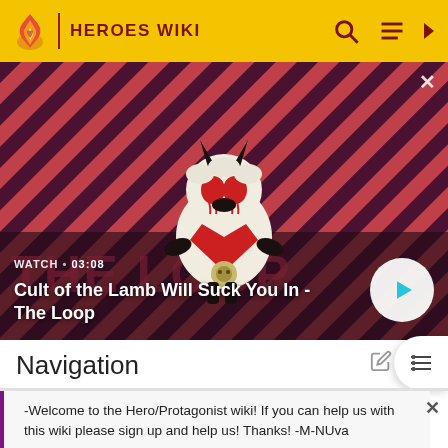HEROES WIKI
[Figure (screenshot): Cult of the Lamb animated character on a red diagonal striped background. Text overlay: WATCH • 03:08. Title: Cult of the Lamb Will Suck You In - The Loop. Play button on the right.]
Navigation
-Welcome to the Hero/Protagonist wiki! If you can help us with this wiki please sign up and help us! Thanks! -M-NUva